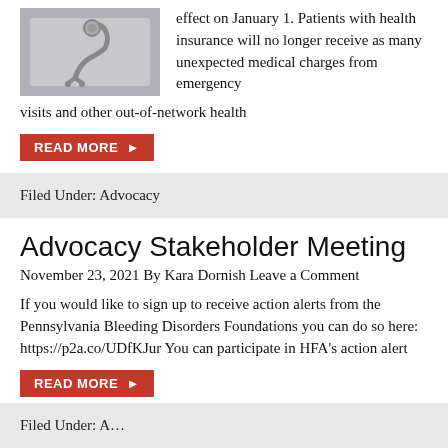[Figure (photo): Stethoscope photo, gray background]
effect on January 1. Patients with health insurance will no longer receive as many unexpected medical charges from emergency visits and other out-of-network health
READ MORE ▶
Filed Under: Advocacy
Advocacy Stakeholder Meeting
November 23, 2021 By Kara Dornish Leave a Comment
If you would like to sign up to receive action alerts from the Pennsylvania Bleeding Disorders Foundations you can do so here: https://p2a.co/UDfKJur You can participate in HFA's action alert
READ MORE ▶
Filed Under: A…